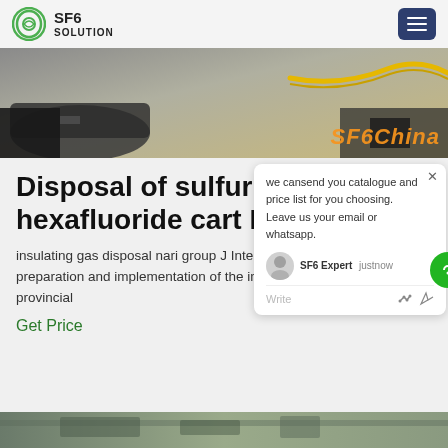SF6 SOLUTION
[Figure (photo): Close-up photo of SF6 related equipment with SF6China watermark in orange]
Disposal of sulfur hexafluoride cart M Group
insulating gas disposal nari group J Interpretation of | Cultivation: the preparation and implementation of the implementation plan of provincial
Get Price
[Figure (screenshot): Chat popup overlay: 'we cansend you catalogue and price list for you choosing. Leave us your email or whatsapp.' with SF6 Expert chat agent, justnow timestamp, Write input field]
[Figure (photo): Partial bottom image showing outdoor scene]